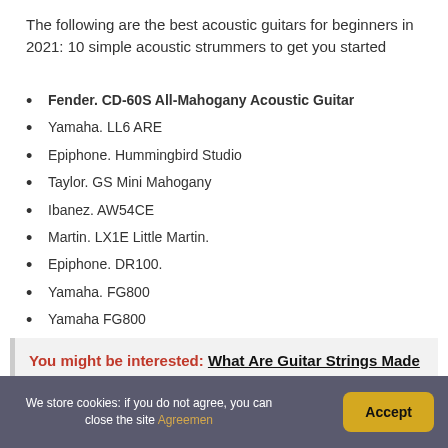The following are the best acoustic guitars for beginners in 2021: 10 simple acoustic strummers to get you started
Fender. CD-60S All-Mahogany Acoustic Guitar
Yamaha. LL6 ARE
Epiphone. Hummingbird Studio
Taylor. GS Mini Mahogany
Ibanez. AW54CE
Martin. LX1E Little Martin.
Epiphone. DR100.
Yamaha. FG800
Yamaha FG800
You might be interested: What Are Guitar Strings Made Of? (Perfect answer)
We store cookies: if you do not agree, you can close the site Agreemen